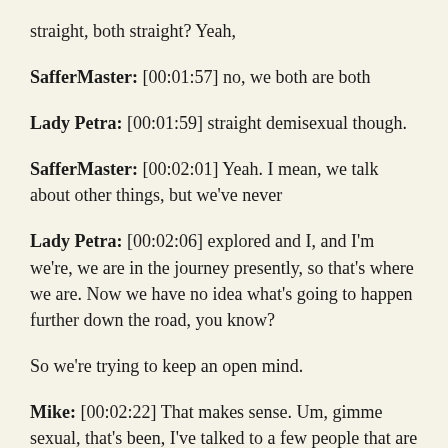straight, both straight? Yeah,
SafferMaster: [00:01:57] no, we both are both
Lady Petra: [00:01:59] straight demisexual though.
SafferMaster: [00:02:01] Yeah. I mean, we talk about other things, but we've never
Lady Petra: [00:02:06] explored and I, and I'm we're, we are in the journey presently, so that's where we are. Now we have no idea what's going to happen further down the road, you know?
So we're trying to keep an open mind.
Mike: [00:02:22] That makes sense. Um, gimme sexual, that's been, I've talked to a few people that are Demi sexual and it, that seems to be well with all the sexuality. It